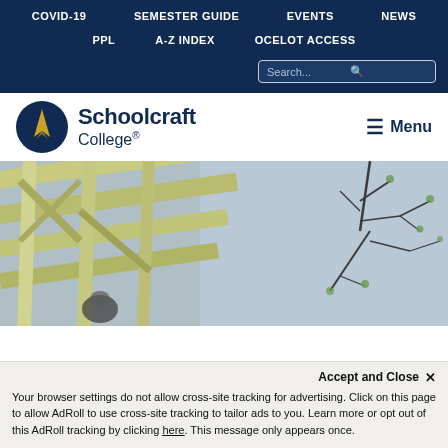COVID-19   SEMESTER GUIDE   EVENTS   NEWS
PPL   A-Z INDEX   OCELOT ACCESS
[Figure (logo): Schoolcraft College logo with circular blue background and gold arrow/torch icon, next to text 'Schoolcraft College®']
≡ Menu
[Figure (photo): Looking up shot of a building's structural staircase/scaffolding with bare winter tree branches against grey sky, with a person visible at the bottom]
Accept and Close ✕
Your browser settings do not allow cross-site tracking for advertising. Click on this page to allow AdRoll to use cross-site tracking to tailor ads to you. Learn more or opt out of this AdRoll tracking by clicking here. This message only appears once.